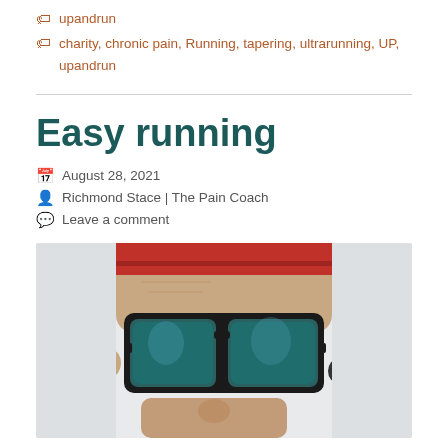upandrun
charity, chronic pain, Running, tapering, ultrarunning, UP, upandrun
Easy running
August 28, 2021   Richmond Stace | The Pain Coach
Leave a comment
[Figure (photo): Close-up photo of a man wearing black sunglasses with blue-tinted lenses and a red cap, looking downward. He has stubble on his face and appears to be wearing an earphone.]